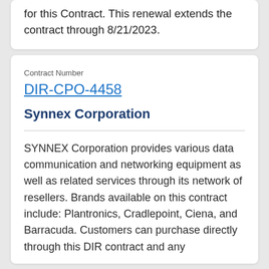for this Contract. This renewal extends the contract through 8/21/2023.
Contract Number
DIR-CPO-4458
Synnex Corporation
SYNNEX Corporation provides various data communication and networking equipment as well as related services through its network of resellers. Brands available on this contract include: Plantronics, Cradlepoint, Ciena, and Barracuda. Customers can purchase directly through this DIR contract and any